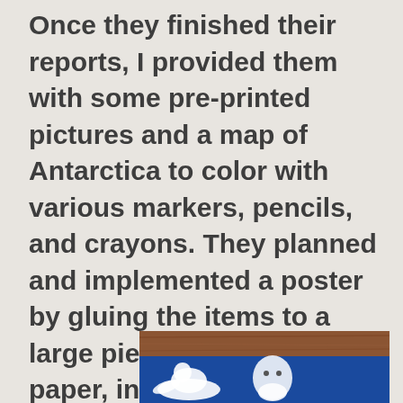Once they finished their reports, I provided them with some pre-printed pictures and a map of Antarctica to color with various markers, pencils, and crayons. They planned and implemented a poster by gluing the items to a large piece of construction paper, including the written report.
[Figure (photo): Partial photo of what appears to be a student poster about Antarctica on a wooden surface, showing animal (seal/penguin) cutouts against a blue background.]